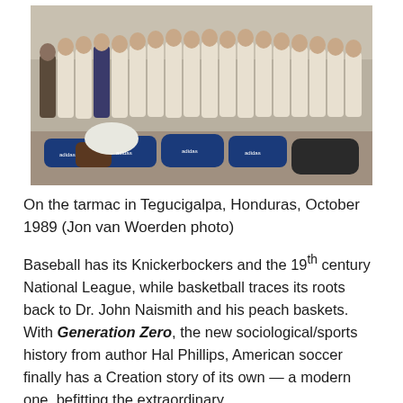[Figure (photo): Group photo of a soccer team on a tarmac, with players wearing white shirts and khaki pants, standing behind a row of blue and other sports bags. Outdoor setting, appears to be late 1980s.]
On the tarmac in Tegucigalpa, Honduras, October 1989 (Jon van Woerden photo)
Baseball has its Knickerbockers and the 19th century National League, while basketball traces its roots back to Dr. John Naismith and his peach baskets. With Generation Zero, the new sociological/sports history from author Hal Phillips, American soccer finally has a Creation story of its own — a modern one, befitting the extraordinary